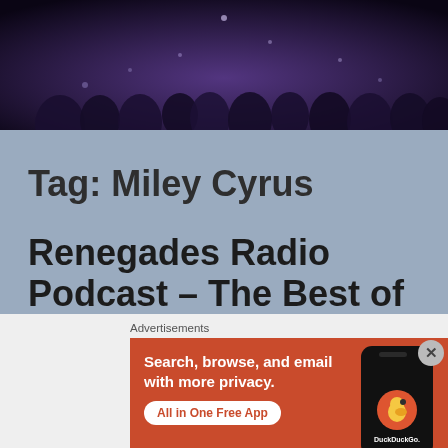[Figure (photo): Dark concert crowd photo with purple/blue ambient lighting, people visible as silhouettes]
Tag: Miley Cyrus
Renegades Radio Podcast – The Best of
Advertisements
[Figure (screenshot): DuckDuckGo advertisement banner with orange background. Text: Search, browse, and email with more privacy. All in One Free App. Shows DuckDuckGo app on phone.]